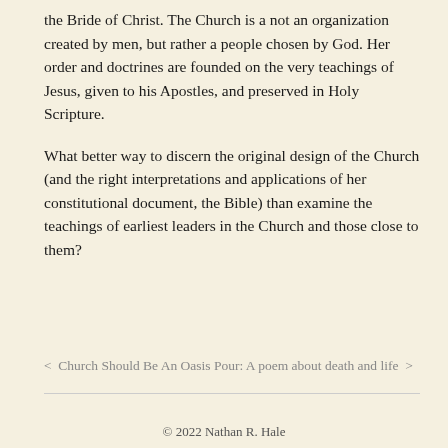the Bride of Christ. The Church is a not an organization created by men, but rather a people chosen by God. Her order and doctrines are founded on the very teachings of Jesus, given to his Apostles, and preserved in Holy Scripture.
What better way to discern the original design of the Church (and the right interpretations and applications of her constitutional document, the Bible) than examine the teachings of earliest leaders in the Church and those close to them?
< Church Should Be An Oasis Pour: A poem about death and life >
© 2022 Nathan R. Hale